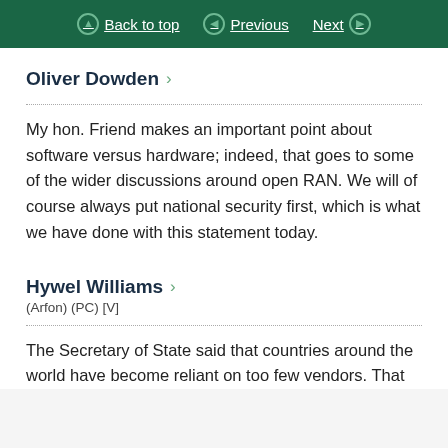Back to top  Previous  Next
Oliver Dowden ›
My hon. Friend makes an important point about software versus hardware; indeed, that goes to some of the wider discussions around open RAN. We will of course always put national security first, which is what we have done with this statement today.
Hywel Williams ›
(Arfon) (PC) [V]
The Secretary of State said that countries around the world have become reliant on too few vendors. That